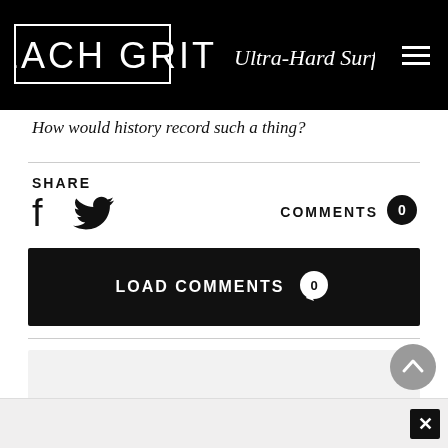BEACH GRIT Ultra-Hard Surf Candy
How would history record such a thing?
SHARE
COMMENTS 0
LOAD COMMENTS 0